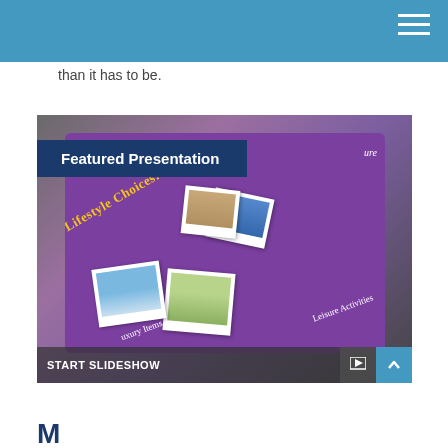than it has to be.
[Figure (photo): Person holding a tablet displaying a purple slide titled 'Lifestyle Choices: Luxury' with polaroid-style photos of a sailboat and Eiffel Tower, with 'Leisure Activities' and 'Luxury Items' labels. A 'Featured Presentation' overlay banner appears over the image. At the bottom is a 'START SLIDESHOW' bar.]
M